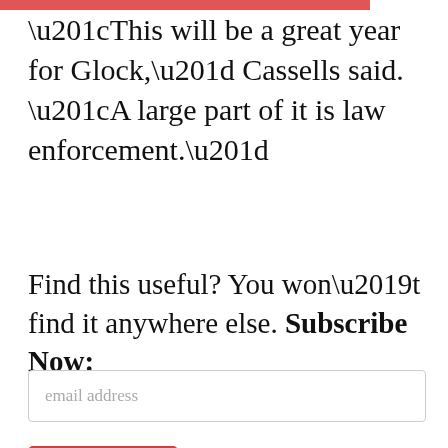“This will be a great year for Glock,” Cassells said. “A large part of it is law enforcement.”
Find this useful? You won’t find it anywhere else. Subscribe Now:
email address
Subscribe